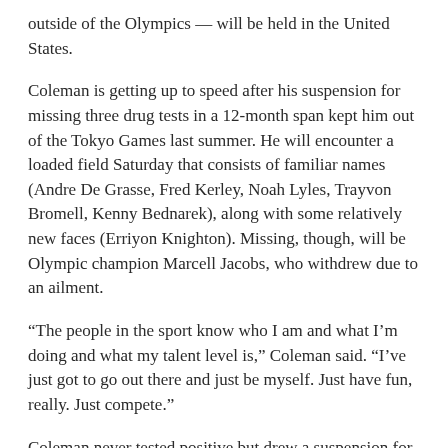outside of the Olympics — will be held in the United States.
Coleman is getting up to speed after his suspension for missing three drug tests in a 12-month span kept him out of the Tokyo Games last summer. He will encounter a loaded field Saturday that consists of familiar names (Andre De Grasse, Fred Kerley, Noah Lyles, Trayvon Bromell, Kenny Bednarek), along with some relatively new faces (Erriyon Knighton). Missing, though, will be Olympic champion Marcell Jacobs, who withdrew due to an ailment.
“The people in the sport know who I am and what I’m doing and what my talent level is,” Coleman said. “I’ve just got to go out there and just be myself. Just have fun, really. Just compete.”
Coleman never tested positive but drew a suspension for breaking antidoping rules with three “wherabout failures” in a one-year period. His last violation was months after his win at the 2019 world championships in Doha, Qatar. He